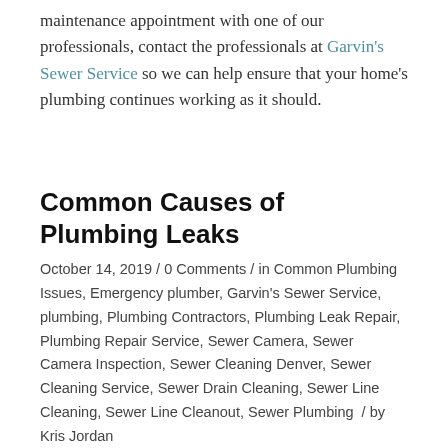maintenance appointment with one of our professionals, contact the professionals at Garvin's Sewer Service so we can help ensure that your home's plumbing continues working as it should.
Common Causes of Plumbing Leaks
October 14, 2019 / 0 Comments / in Common Plumbing Issues, Emergency plumber, Garvin's Sewer Service, plumbing, Plumbing Contractors, Plumbing Leak Repair, Plumbing Repair Service, Sewer Camera, Sewer Camera Inspection, Sewer Cleaning Denver, Sewer Cleaning Service, Sewer Drain Cleaning, Sewer Line Cleaning, Sewer Line Cleanout, Sewer Plumbing / by Kris Jordan